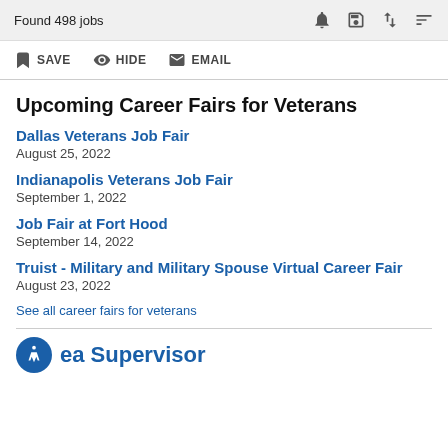Found 498 jobs
SAVE  HIDE  EMAIL
Upcoming Career Fairs for Veterans
Dallas Veterans Job Fair
August 25, 2022
Indianapolis Veterans Job Fair
September 1, 2022
Job Fair at Fort Hood
September 14, 2022
Truist - Military and Military Spouse Virtual Career Fair
August 23, 2022
See all career fairs for veterans
Area Supervisor